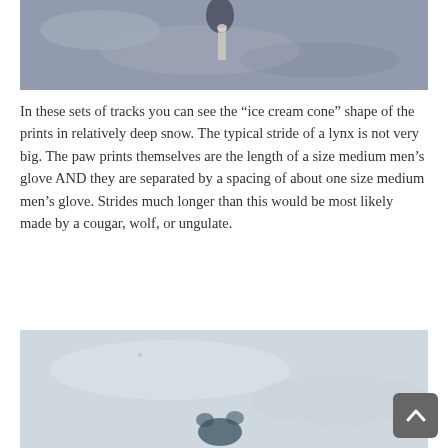[Figure (photo): Aerial or close-up view of lynx tracks in snow showing ice cream cone shaped paw prints in relatively deep snow, grayish-blue toned image.]
In these sets of tracks you can see the “ice cream cone” shape of the prints in relatively deep snow. The typical stride of a lynx is not very big. The paw prints themselves are the length of a size medium men’s glove AND they are separated by a spacing of about one size medium men’s glove. Strides much longer than this would be most likely made by a cougar, wolf, or ungulate.
[Figure (photo): Close-up photo of lynx paw print in snow, light blue-gray snowy background with dark print impression visible at bottom of frame.]